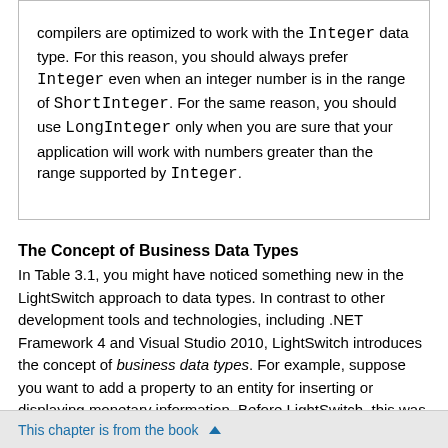compilers are optimized to work with the Integer data type. For this reason, you should always prefer Integer even when an integer number is in the range of ShortInteger. For the same reason, you should use LongInteger only when you are sure that your application will work with numbers greater than the range supported by Integer.
The Concept of Business Data Types
In Table 3.1, you might have noticed something new in the LightSwitch approach to data types. In contrast to other development tools and technologies, including .NET Framework 4 and Visual Studio 2010, LightSwitch introduces the concept of business data types. For example, suppose you want to add a property to an entity for inserting or displaying monetary information. Before LightSwitch, this was accomplished by using the Decimal data type, which can display decimal numbers and is therefore the most appropriate .NET type in this scenario. This is
This chapter is from the book ▲